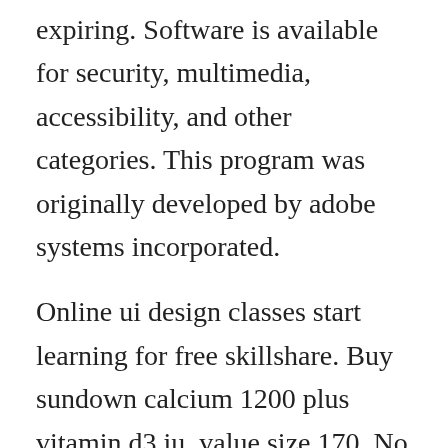expiring. Software is available for security, multimedia, accessibility, and other categories. This program was originally developed by adobe systems incorporated.
Online ui design classes start learning for free skillshare. Buy sundown calcium 1200 plus vitamin d3 iu, value size 170. No matter what youre looking for or where you are in the world, our global marketplace of sellers can help you find unique and affordable options. Software licensing provides public domain, bulk purchase, volume, and sitelicensed software. We hope this illustrates for you